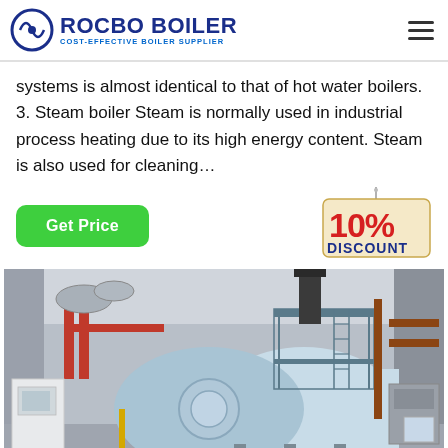ROCBO BOILER - COST-EFFECTIVE BOILER SUPPLIER
systems is almost identical to that of hot water boilers. 3. Steam boiler Steam is normally used in industrial process heating due to its high energy content. Steam is also used for cleaning…
[Figure (illustration): 10% DISCOUNT badge with string hanging]
[Figure (photo): Industrial boiler room with large horizontal cylindrical steam boiler, red and brown piping, metal scaffolding, and industrial facilities interior]